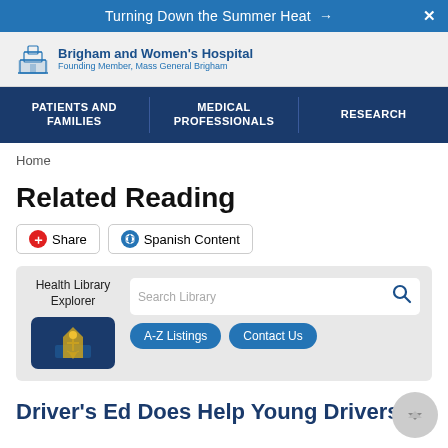Turning Down the Summer Heat →
[Figure (logo): Brigham and Women's Hospital logo with building icon, name and Founding Member, Mass General Brigham subtitle]
PATIENTS AND FAMILIES | MEDICAL PROFESSIONALS | RESEARCH
Home
Related Reading
Share   Spanish Content
[Figure (screenshot): Health Library Explorer widget with search bar, A-Z Listings and Contact Us buttons]
Driver's Ed Does Help Young Drivers